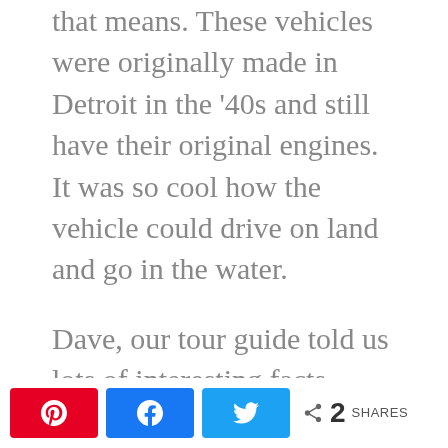that means. These vehicles were originally made in Detroit in the '40s and still have their original engines.  It was so cool how the vehicle could drive on land and go in the water.
Dave, our tour guide told us lots of interesting facts about the rainforest and the plant life in it.  One of the things I found most interesting was when the British came, they introduced a plant used in pots in their gardens in England.  But when its seeds spread out through Australia, it grew like a weed.  That is why we can't bring
2 SHARES